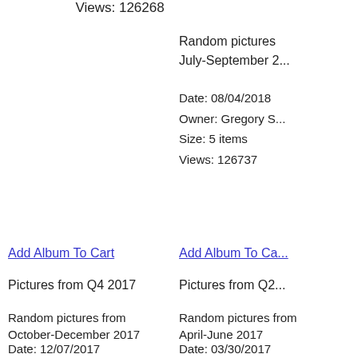Views: 126268
Random pictures from July-September 2...
Date: 08/04/2018
Owner: Gregory S...
Size: 5 items
Views: 126737
Add Album To Cart
Add Album To Ca...
Pictures from Q4 2017
Pictures from Q2...
Random pictures from October-December 2017
Random pictures from April-June 2017
Date: 12/07/2017
Date: 03/30/2017